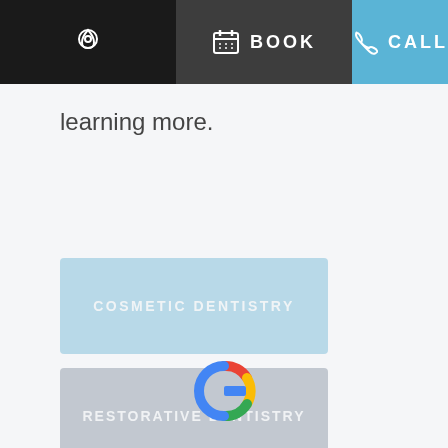BOOK  CALL
learning more.
COSMETIC DENTISTRY
RESTORATIVE DENTISTRY
[Figure (logo): Google logo (G icon) in multicolor — red, yellow, green, blue — on dark gray footer background]